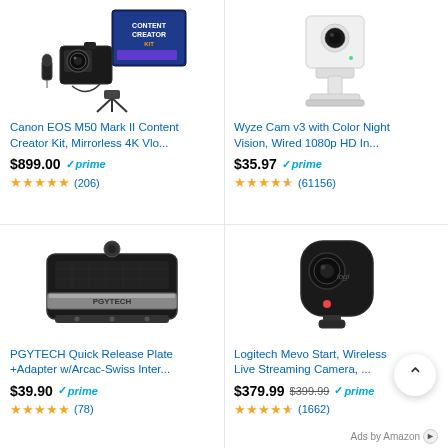[Figure (photo): Canon EOS M50 Mark II Content Creator Kit product photo]
Canon EOS M50 Mark II Content Creator Kit, Mirrorless 4K Vlo...
$899.00 prime
★★★★★ (206)
[Figure (photo): Wyze Cam v3 security camera product photo]
Wyze Cam v3 with Color Night Vision, Wired 1080p HD In...
$35.97 prime
★★★★☆ (61156)
[Figure (photo): PGYTECH Quick Release Plate adapter product photo]
PGYTECH Quick Release Plate +Adapter w/Arcac-Swiss Inter...
$39.90 prime
★★★★★ (78)
[Figure (photo): Logitech Mevo Start wireless live streaming camera product photo]
Logitech Mevo Start, Wireless Live Streaming Camera, ...
$379.99 $399.99 prime
★★★★☆ (1662)
Ads by Amazon